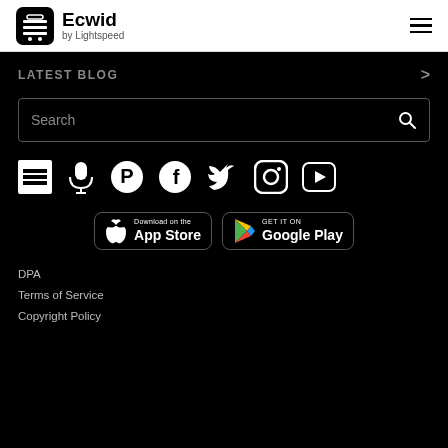Ecwid by Lightspeed
LATEST BLOG
[Figure (other): Search bar with placeholder text 'Search' and a search icon on the right]
[Figure (other): Row of social media icons: blog/menu, microphone, Pinterest, Facebook, Twitter, Instagram, YouTube]
[Figure (other): App store badges: 'Download on the App Store' and 'GET IT ON Google Play']
DPA
Terms of Service
Copyright Policy